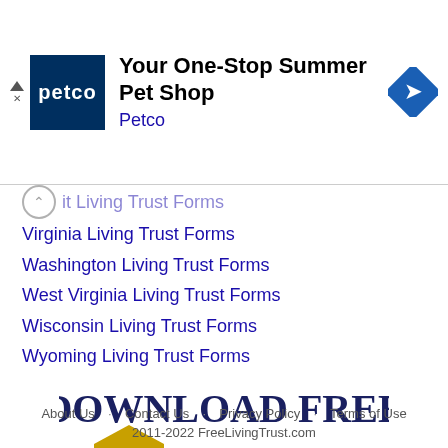[Figure (other): Petco advertisement banner: 'Your One--Stop Summer Pet Shop' with Petco logo (dark blue square with 'petco' text) and a blue diamond navigation icon on the right]
it Living Trust Forms (partially visible, cut off at top)
Virginia Living Trust Forms
Washington Living Trust Forms
West Virginia Living Trust Forms
Wisconsin Living Trust Forms
Wyoming Living Trust Forms
[Figure (logo): Download Free Legal Forms logo: dark navy bold serif text 'DOWNLOAD FREE' on top line, gold/yellow classical column building icon followed by 'LEGAL FORMS' text]
About Us · Contact Us · Privacy Policy · Terms of Use 2011-2022 FreeLivingTrust.com